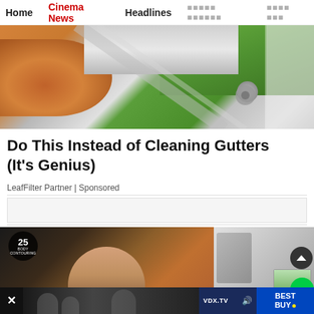Home | Cinema News | Headlines | [foreign text] | [foreign text]
[Figure (photo): Close-up photo of a gutter with rust/orange residue, green grass visible in background, metal gutter hardware visible]
Do This Instead of Cleaning Gutters (It's Genius)
LeafFilter Partner | Sponsored
[Figure (photo): Split image: left side shows a woman lying on a body contouring machine (timer showing 25 min), right side shows stairs and a laptop display]
[Figure (screenshot): Bottom video ad bar with Best Buy branding and VDX.TV label]